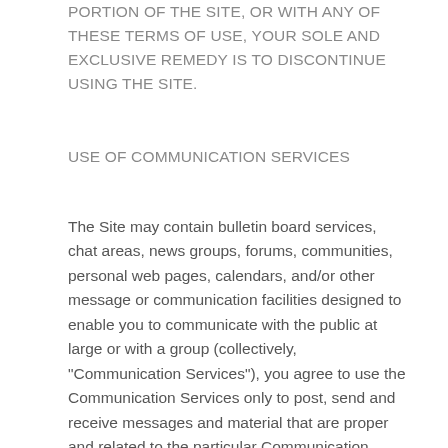PORTION OF THE SITE, OR WITH ANY OF THESE TERMS OF USE, YOUR SOLE AND EXCLUSIVE REMEDY IS TO DISCONTINUE USING THE SITE.
USE OF COMMUNICATION SERVICES
The Site may contain bulletin board services, chat areas, news groups, forums, communities, personal web pages, calendars, and/or other message or communication facilities designed to enable you to communicate with the public at large or with a group (collectively, “Communication Services”), you agree to use the Communication Services only to post, send and receive messages and material that are proper and related to the particular Communication